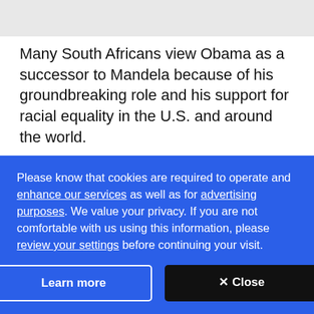Many South Africans view Obama as a successor to Mandela because of his groundbreaking role and his support for racial equality in the U.S. and around the world.
CBC's Journalistic Standards and Practices | About CBC News
Corrections and clarifications | Submit a news tip |
Please know that cookies are required to operate and enhance our services as well as for advertising purposes. We value your privacy. If you are not comfortable with us using this information, please review your settings before continuing your visit.